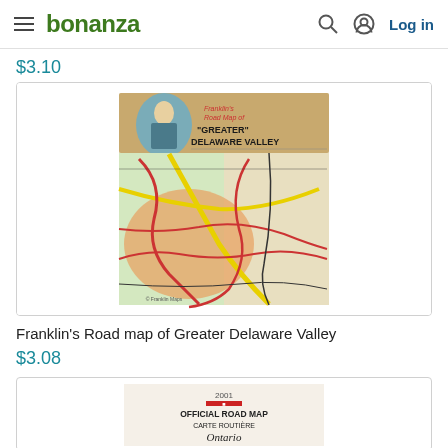bonanza — Log in
$3.10
[Figure (photo): Franklin's Road Map of Greater Delaware Valley — vintage folded road map cover with illustration of Benjamin Franklin and colorful road map]
Franklin's Road map of Greater Delaware Valley
$3.08
[Figure (photo): Partial view of Ontario Official Road Map / Carte Routière — 2001 edition]